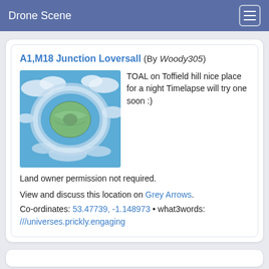Drone Scene
A1,M18 Junction Loversall (By Woody305)
[Figure (photo): Aerial drone photo showing a tiny planet effect over fields and countryside with blue sky and clouds]
TOAL on Toffield hill nice place for a night Timelapse will try one soon :)
Land owner permission not required.
View and discuss this location on Grey Arrows.
Co-ordinates: 53.47739, -1.148973 • what3words: ///universes.prickly.engaging